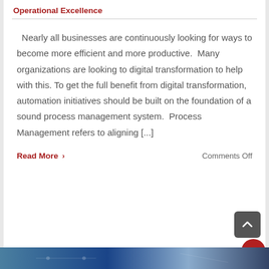Operational Excellence
Nearly all businesses are continuously looking for ways to become more efficient and more productive.  Many organizations are looking to digital transformation to help with this. To get the full benefit from digital transformation, automation initiatives should be built on the foundation of a sound process management system.  Process Management refers to aligning [...]
Read More > Comments Off